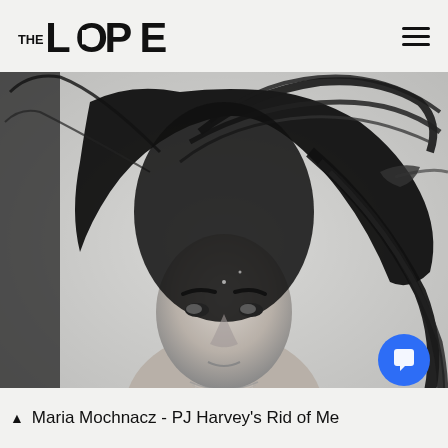THE LUPE
[Figure (photo): Black and white photograph of a woman (Maria Mochnacz) with wet dark dreadlocks dramatically swept upward and to the side, looking intensely at the camera, wearing a chain necklace, in a bathtub setting.]
▲ Maria Mochnacz - PJ Harvey's Rid of Me